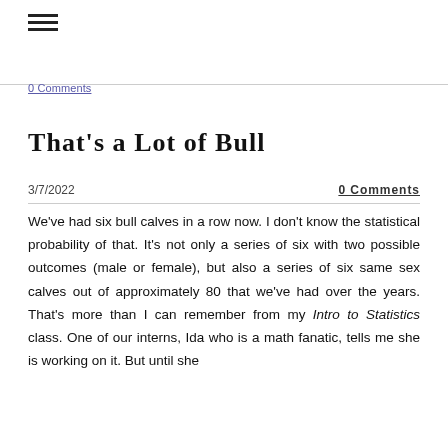≡
0 Comments
That's a Lot of Bull
3/7/2022
0 Comments
We've had six bull calves in a row now. I don't know the statistical probability of that. It's not only a series of six with two possible outcomes (male or female), but also a series of six same sex calves out of approximately 80 that we've had over the years. That's more than I can remember from my Intro to Statistics class. One of our interns, Ida who is a math fanatic, tells me she is working on it. But until she